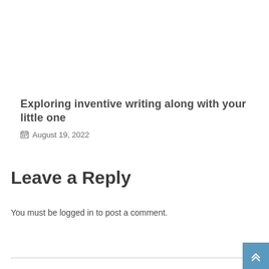Exploring inventive writing along with your little one
August 19, 2022
Leave a Reply
You must be logged in to post a comment.